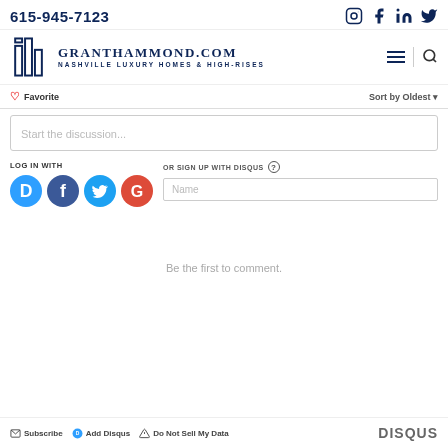615-945-7123
[Figure (logo): GrantHammond.com Nashville Luxury Homes & High-Rises logo with building icon]
Favorite | Sort by Oldest
Start the discussion...
LOG IN WITH
OR SIGN UP WITH DISQUS
Name
Be the first to comment.
Subscribe | Add Disqus | Do Not Sell My Data | DISQUS